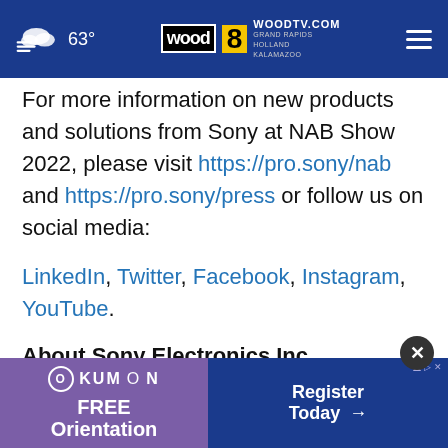63° WOODTV.COM GRAND RAPIDS HOLLAND KALAMAZOO wood 8 tv
For more information on new products and solutions from Sony at NAB Show 2022, please visit https://pro.sony/nab and https://pro.sony/press or follow us on social media:
LinkedIn, Twitter, Facebook, Instagram, YouTube.
About Sony Electronics Inc.
Sony Electronics is a subsidiary of Sony Corporation, a member of the Sony Group Corporation, one of the most
[Figure (infographic): Advertisement banner for Kumon Free Orientation with Register Today button]